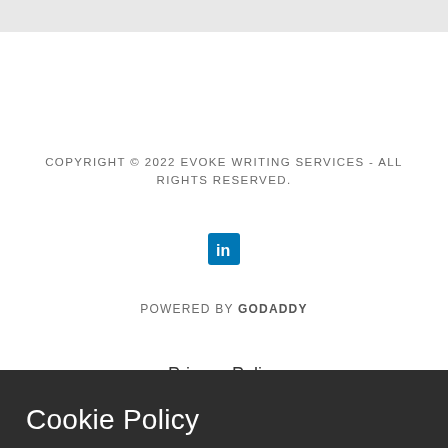[Figure (other): Gray banner area at top of page]
COPYRIGHT © 2022 EVOKE WRITING SERVICES - ALL RIGHTS RESERVED.
[Figure (logo): LinkedIn social media icon button with white 'in' text on blue square background]
POWERED BY GODADDY
Privacy Policy
Cookie Policy